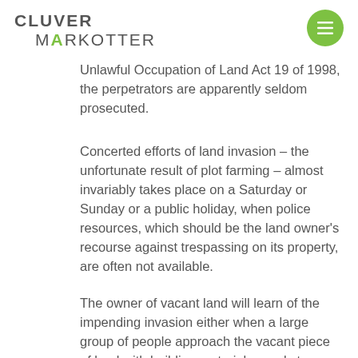Cluver Markotter
...through the practice of 'plot farming' ...section 3(1) of the Prevention of Illegal Eviction from and Unlawful Occupation of Land Act 19 of 1998, the perpetrators are apparently seldom prosecuted.
Concerted efforts of land invasion – the unfortunate result of plot farming – almost invariably takes place on a Saturday or Sunday or a public holiday, when police resources, which should be the land owner's recourse against trespassing on its property, are often not available.
The owner of vacant land will learn of the impending invasion either when a large group of people approach the vacant piece of land with building materials, ready to erect structures